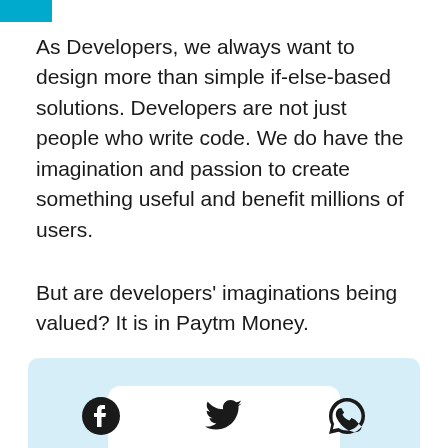As Developers, we always want to design more than simple if-else-based solutions. Developers are not just people who write code. We do have the imagination and passion to create something useful and benefit millions of users.
But are developers' imaginations being valued? It is in Paytm Money.
[Figure (screenshot): Light blue background panel with a white rounded-top rectangle visible at the bottom, representing a mobile app screenshot.]
[Figure (infographic): Social sharing icons row: Facebook, Twitter, WhatsApp]